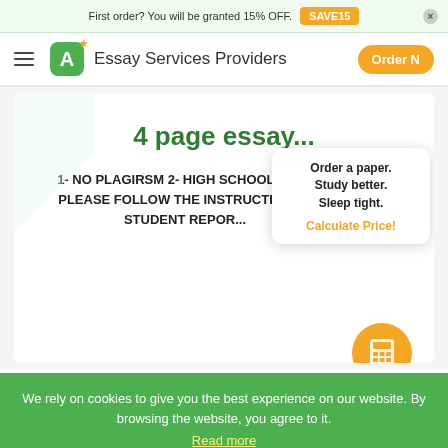First order? You will be granted 15% OFF. SAVE15
Essay Services Providers
4 page essay...
1- NO PLAGIRSM 2- HIGH SCHOOL LEVEL PLEASE FOLLOW THE INSTRUCTIONS STUDENT REPOR...
Order a paper. Study better. Sleep tight. Calculate Price!
We rely on cookies to give you the best experience on our website. By browsing the website, you agree to it. Read more
I agree